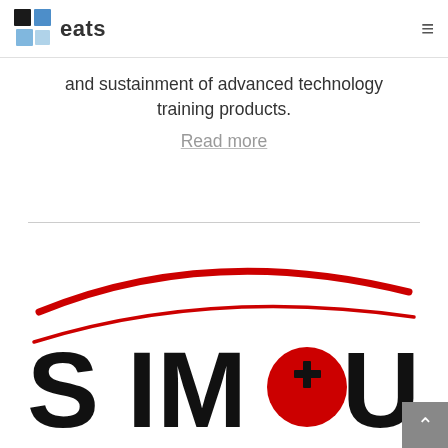eats
and sustainment of advanced technology training products.
Read more
[Figure (logo): SIM4U logo with red swoosh curves and bold black lettering, with a red and black cross/plus symbol replacing the '4']